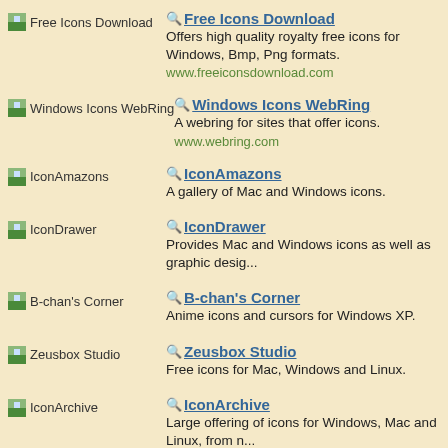Free Icons Download — Free Icons Download. Offers high quality royalty free icons for Windows, Bmp, Png formats. www.freeiconsdownload.com
Windows Icons WebRing — Windows Icons WebRing. A webring for sites that offer icons. www.webring.com
IconAmazons — IconAmazons. A gallery of Mac and Windows icons.
IconDrawer — IconDrawer. Provides Mac and Windows icons as well as graphic desig...
B-chan's Corner — B-chan's Corner. Anime icons and cursors for Windows XP.
Zeusbox Studio — Zeusbox Studio. Free icons for Mac, Windows and Linux.
IconArchive — IconArchive. Large offering of icons for Windows, Mac and Linux, from m...